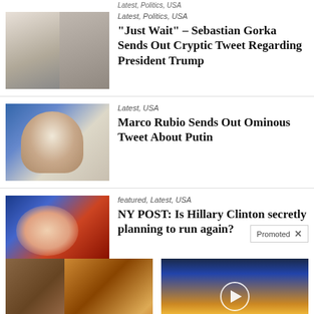[Figure (photo): Two men in suits standing together]
Latest, Politics, USA
“Just Wait” – Sebastian Gorka Sends Out Cryptic Tweet Regarding President Trump
[Figure (photo): Man in suit, likely Vladimir Putin]
Latest, USA
Marco Rubio Sends Out Ominous Tweet About Putin
[Figure (photo): Woman smiling, partially visible]
featured, Latest, USA
NY POST: Is Hillary Clinton secretly planning to run again?
Promoted
[Figure (photo): Fitness and spice promotional image]
A Teaspoon On An Empty Stomach Burns Fat Like Crazy!
157,224
[Figure (photo): Dramatic sky with play button overlay]
Everyone Who Believes In God Should Watch This. It Will Blow Your Mind
43,959